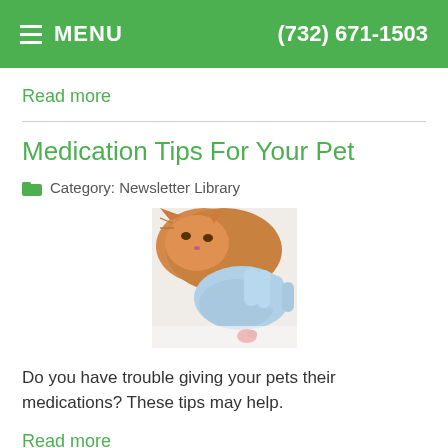MENU  (732) 671-1503
Read more
Medication Tips For Your Pet
Category: Newsletter Library
[Figure (photo): A gloved hand holding a red pill near an orange cat on a white surface]
Do you have trouble giving your pets their medications? These tips may help.
Read more